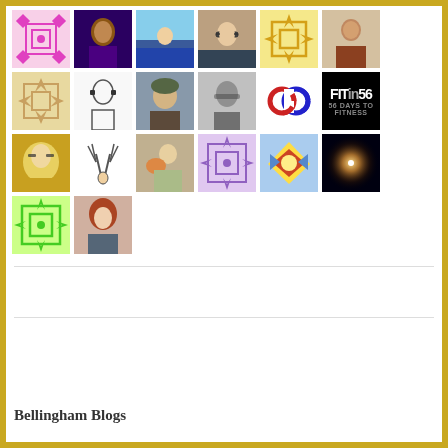[Figure (photo): Grid of avatar/profile images arranged in rows, showing various user avatars including decorative patterns, portraits, logos, and illustrations]
Bellingham Blogs